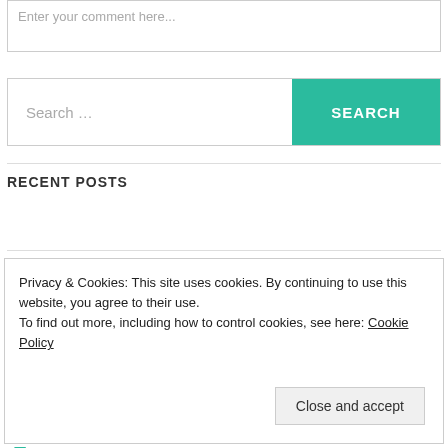Enter your comment here...
Search ...
SEARCH
RECENT POSTS
Drama Teasers of the Week
Privacy & Cookies: This site uses cookies. By continuing to use this website, you agree to their use. To find out more, including how to control cookies, see here: Cookie Policy
Close and accept